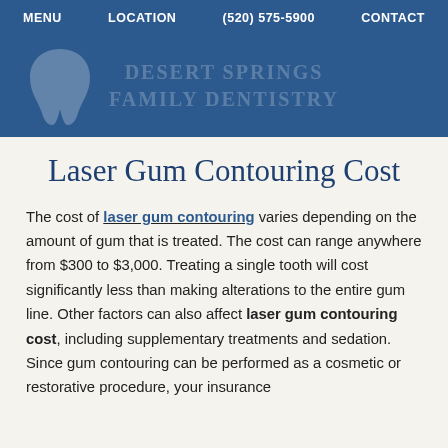MENU   LOCATION   (520) 575-5900   CONTACT
[Figure (logo): Desert Springs Family Dentistry logo banner with tooth icon on blue background]
Laser Gum Contouring Cost
The cost of laser gum contouring varies depending on the amount of gum that is treated. The cost can range anywhere from $300 to $3,000. Treating a single tooth will cost significantly less than making alterations to the entire gum line. Other factors can also affect laser gum contouring cost, including supplementary treatments and sedation. Since gum contouring can be performed as a cosmetic or restorative procedure, your insurance